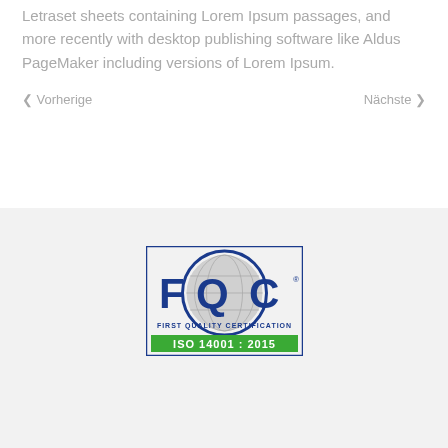Letraset sheets containing Lorem Ipsum passages, and more recently with desktop publishing software like Aldus PageMaker including versions of Lorem Ipsum.
< Vorherige    Nächste >
[Figure (logo): FQC First Quality Certification ISO 14001:2015 logo — blue circular emblem with globe, text FIRST QUALITY CERTIFICATION below, green bar with ISO 14001 : 2015]